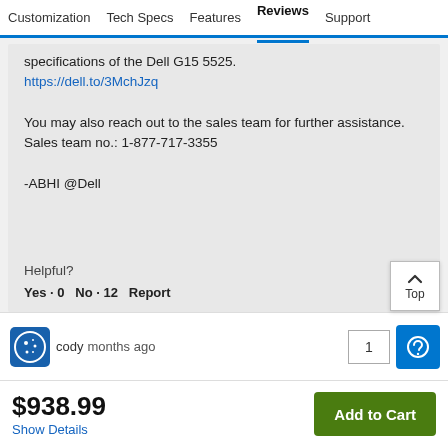Customization  Tech Specs  Features  Reviews  Support
specifications of the Dell G15 5525.
https://dell.to/3MchJzq

You may also reach out to the sales team for further assistance.
Sales team no.: 1-877-717-3355

-ABHI @Dell
Helpful?
Yes · 0   No · 12   Report
cody  months ago
$938.99
Show Details
Add to Cart